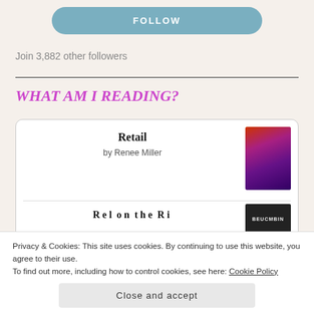FOLLOW
Join 3,882 other followers
WHAT AM I READING?
Retail
by Renee Miller
Privacy & Cookies: This site uses cookies. By continuing to use this website, you agree to their use.
To find out more, including how to control cookies, see here: Cookie Policy
Close and accept
weekend escape read, no matter what genre you